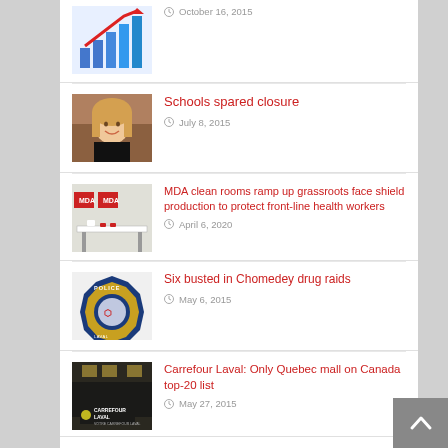[Figure (photo): Bar chart with red line graph thumbnail (cropped at top)]
October 16, 2015
[Figure (photo): Portrait photo of a smiling blonde woman]
Schools spared closure
July 8, 2015
[Figure (photo): MDA clean room with tables and equipment, MDA logos visible]
MDA clean rooms ramp up grassroots face shield production to protect front-line health workers
April 6, 2020
[Figure (photo): Police badge/shield logo with blue and gold design]
Six busted in Chomedey drug raids
May 6, 2015
[Figure (photo): Carrefour Laval shopping mall interior with Carrefour Laval logo sign]
Carrefour Laval: Only Quebec mall on Canada top-20 list
May 27, 2015